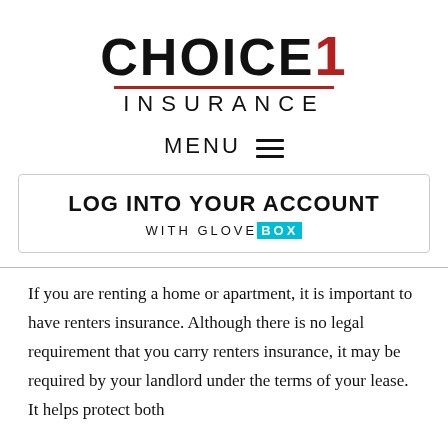[Figure (logo): Choice 1 Insurance logo with CHOICE in black bold text, 1 in red bold, red underline, and INSURANCE in spaced black letters below]
MENU ≡
LOG INTO YOUR ACCOUNT WITH GLOVEBOX
If you are renting a home or apartment, it is important to have renters insurance. Although there is no legal requirement that you carry renters insurance, it may be required by your landlord under the terms of your lease. It helps protect both